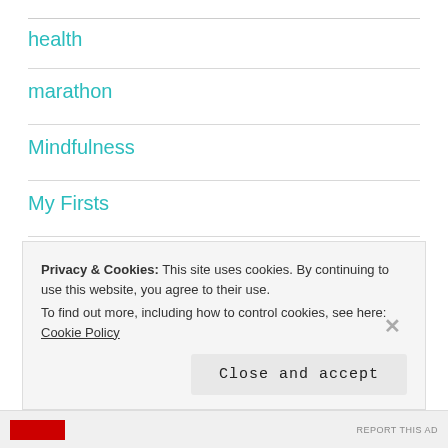health
marathon
Mindfulness
My Firsts
Playlists
Products I Love
Privacy & Cookies: This site uses cookies. By continuing to use this website, you agree to their use.
To find out more, including how to control cookies, see here: Cookie Policy
Close and accept
REPORT THIS AD